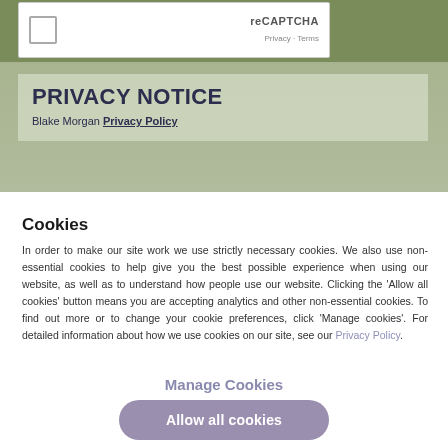[Figure (screenshot): reCAPTCHA widget with checkbox, 'reCAPTCHA' branding, 'Privacy - Terms' links, on green background]
PRIVACY NOTICE
Blake Morgan Privacy Policy
Cookies
In order to make our site work we use strictly necessary cookies. We also use non-essential cookies to help give you the best possible experience when using our website, as well as to understand how people use our website. Clicking the 'Allow all cookies' button means you are accepting analytics and other non-essential cookies. To find out more or to change your cookie preferences, click 'Manage cookies'. For detailed information about how we use cookies on our site, see our Privacy Policy.
Manage Cookies
Allow all cookies